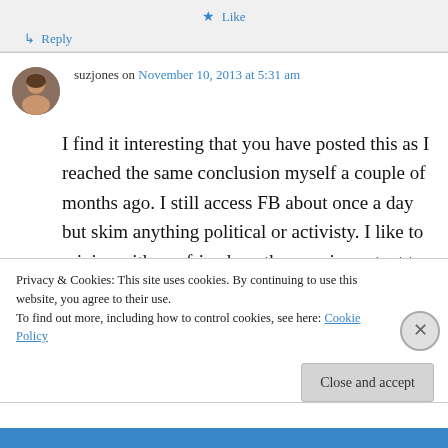★ Like
↳ Reply
suzjones on November 10, 2013 at 5:31 am
I find it interesting that you have posted this as I reached the same conclusion myself a couple of months ago. I still access FB about once a day but skim anything political or activisty. I like to rejoice with my friends as they are important to
Privacy & Cookies: This site uses cookies. By continuing to use this website, you agree to their use.
To find out more, including how to control cookies, see here: Cookie Policy
Close and accept